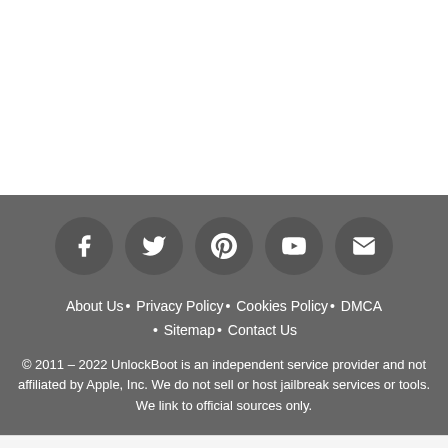[Figure (other): Social media icon circles: Facebook, Twitter, Pinterest, YouTube, Email on dark grey background]
About Us • Privacy Policy • Cookies Policy • DMCA • Sitemap • Contact Us
© 2011 – 2022 UnlockBoot is an independent service provider and not affiliated by Apple, Inc. We do not sell or host jailbreak services or tools. We link to official sources only.
Caramel Apple Pie Swirl = Yum
sweetFrog